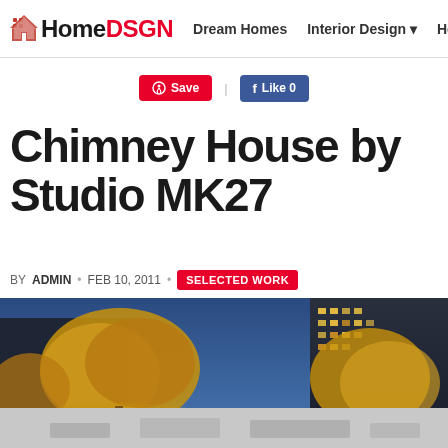HomeDSGN | Dream Homes | Interior Design | Hou
Save | Like 0
Chimney House by Studio MK27
BY ADMIN • FEB 10, 2011 • SELECTED WORK
[Figure (photo): Exterior night photo of Chimney House by Studio MK27, showing illuminated trees against a blue sky with modern buildings in the background]
[Figure (photo): Partially visible bottom strip showing additional exterior view of the property]